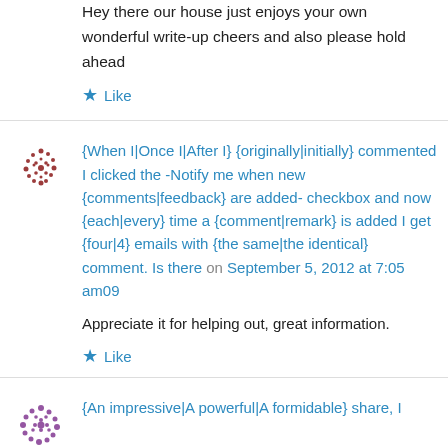Hey there our house just enjoys your own wonderful write-up cheers and also please hold ahead
★ Like
{When I|Once I|After I} {originally|initially} commented I clicked the -Notify me when new {comments|feedback} are added- checkbox and now {each|every} time a {comment|remark} is added I get {four|4} emails with {the same|the identical} comment. Is there on September 5, 2012 at 7:05 am09
Appreciate it for helping out, great information.
★ Like
{An impressive|A powerful|A formidable} share, I